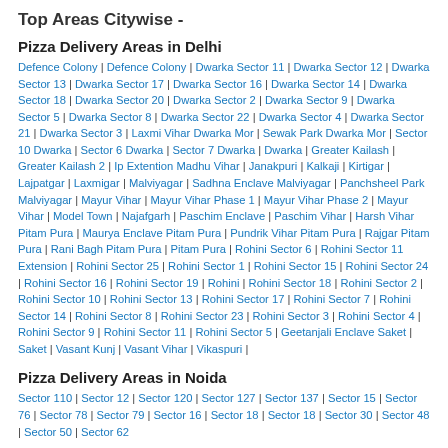Top Areas Citywise -
Pizza Delivery Areas in Delhi
Defence Colony | Defence Colony | Dwarka Sector 11 | Dwarka Sector 12 | Dwarka Sector 13 | Dwarka Sector 17 | Dwarka Sector 16 | Dwarka Sector 14 | Dwarka Sector 18 | Dwarka Sector 20 | Dwarka Sector 2 | Dwarka Sector 9 | Dwarka Sector 5 | Dwarka Sector 8 | Dwarka Sector 22 | Dwarka Sector 4 | Dwarka Sector 21 | Dwarka Sector 3 | Laxmi Vihar Dwarka Mor | Sewak Park Dwarka Mor | Sector 10 Dwarka | Sector 6 Dwarka | Sector 7 Dwarka | Dwarka | Greater Kailash | Greater Kailash 2 | Ip Extention Madhu Vihar | Janakpuri | Kalkaji | Kirtigar | Lajpatgar | Laxmigar | Malviyagar | Sadhna Enclave Malviyagar | Panchsheel Park Malviyagar | Mayur Vihar | Mayur Vihar Phase 1 | Mayur Vihar Phase 2 | Mayur Vihar | Model Town | Najafgarh | Paschim Enclave | Paschim Vihar | Harsh Vihar Pitam Pura | Maurya Enclave Pitam Pura | Pundrik Vihar Pitam Pura | Rajgar Pitam Pura | Rani Bagh Pitam Pura | Pitam Pura | Rohini Sector 6 | Rohini Sector 11 Extension | Rohini Sector 25 | Rohini Sector 1 | Rohini Sector 15 | Rohini Sector 24 | Rohini Sector 16 | Rohini Sector 19 | Rohini | Rohini Sector 18 | Rohini Sector 2 | Rohini Sector 10 | Rohini Sector 13 | Rohini Sector 17 | Rohini Sector 7 | Rohini Sector 14 | Rohini Sector 8 | Rohini Sector 23 | Rohini Sector 3 | Rohini Sector 4 | Rohini Sector 9 | Rohini Sector 11 | Rohini Sector 5 | Geetanjali Enclave Saket | Saket | Vasant Kunj | Vasant Vihar | Vikaspuri |
Pizza Delivery Areas in Noida
Sector 110 | Sector 12 | Sector 120 | Sector 127 | Sector 137 | Sector 15 | Sector 76 | Sector 78 | Sector 79 | Sector 16 | Sector 18 | Sector 18 | Sector 30 | Sector 48 | Sector 50 | Sector 62
Pizza Delivery Areas in Gurgaon